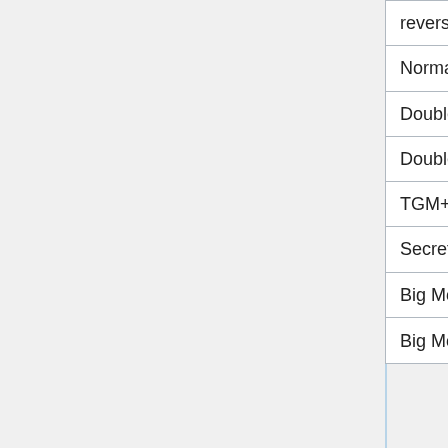| Mode | Condition | Time | Player |
| --- | --- | --- | --- |
| reverse time attack | GM | 07:23:16 |  |
| Normal | 614,459 points | 03:05:71 |  |
| Doubles | Lv. 300 | 03:13:26 |  |
| Doubles (Double Play) | Lv. 300 | 03:35:28 |  |
| TGM+ | Lv. 999 | 08:38:66 |  |
| Secret Grade | GM (Lv. 97) | 01:56:31 |  |
| Big Mode | S9 Orange Line | 10:26:03 |  |
| Big Mode (TA | M Orange Line[a] | 06:52:40 |  |